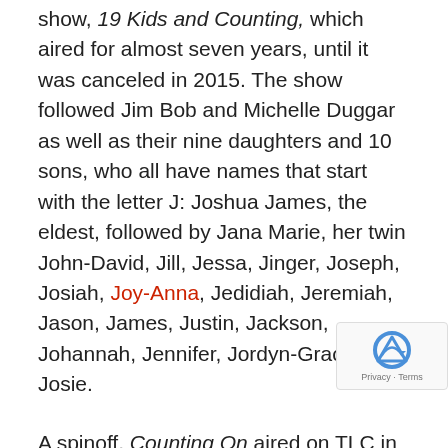show, 19 Kids and Counting, which aired for almost seven years, until it was canceled in 2015. The show followed Jim Bob and Michelle Duggar as well as their nine daughters and 10 sons, who all have names that start with the letter J: Joshua James, the eldest, followed by Jana Marie, her twin John-David, Jill, Jessa, Jinger, Joseph, Josiah, Joy-Anna, Jedidiah, Jeremiah, Jason, James, Justin, Jackson, Johannah, Jennifer, Jordyn-Grace, and Josie.
A spinoff, Counting On aired on TLC in 2015, mostly focusing on the lives of the older Duggar kids: the show is already in its sixth season, which premiered on September 11, 2017.